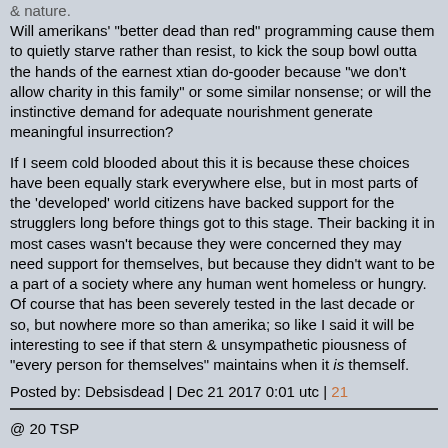& nature.
Will amerikans' "better dead than red" programming cause them to quietly starve rather than resist, to kick the soup bowl outta the hands of the earnest xtian do-gooder because "we don't allow charity in this family" or some similar nonsense; or will the instinctive demand for adequate nourishment generate meaningful insurrection?
If I seem cold blooded about this it is because these choices have been equally stark everywhere else, but in most parts of the 'developed' world citizens have backed support for the strugglers long before things got to this stage. Their backing it in most cases wasn't because they were concerned they may need support for themselves, but because they didn't want to be a part of a society where any human went homeless or hungry.
Of course that has been severely tested in the last decade or so, but nowhere more so than amerika; so like I said it will be interesting to see if that stern & unsympathetic piousness of "every person for themselves" maintains when it is themself.
Posted by: Debsisdead | Dec 21 2017 0:01 utc | 21
@ 20 TSP
"I'd advocate for an annual 10% random eviction from welfare. If they're decent people with bad luck, society will